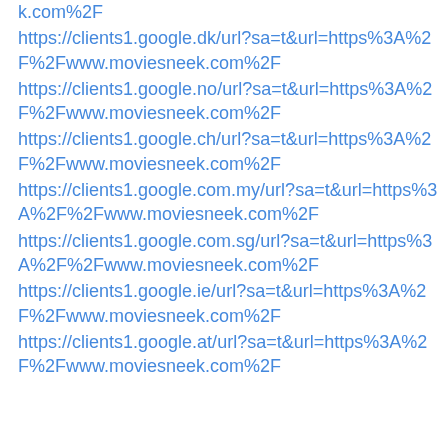k.com%2F
https://clients1.google.dk/url?sa=t&url=https%3A%2F%2Fwww.moviesneek.com%2F
https://clients1.google.no/url?sa=t&url=https%3A%2F%2Fwww.moviesneek.com%2F
https://clients1.google.ch/url?sa=t&url=https%3A%2F%2Fwww.moviesneek.com%2F
https://clients1.google.com.my/url?sa=t&url=https%3A%2F%2Fwww.moviesneek.com%2F
https://clients1.google.com.sg/url?sa=t&url=https%3A%2F%2Fwww.moviesneek.com%2F
https://clients1.google.ie/url?sa=t&url=https%3A%2F%2Fwww.moviesneek.com%2F
https://clients1.google.at/url?sa=t&url=https%3A%2F%2Fwww.moviesneek.com%2F